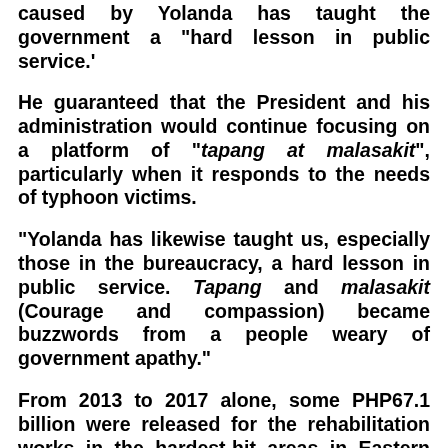caused by Yolanda has taught the government a "hard lesson in public service.'
He guaranteed that the President and his administration would continue focusing on a platform of "tapang at malasakit", particularly when it responds to the needs of typhoon victims.
"Yolanda has likewise taught us, especially those in the bureaucracy, a hard lesson in public service. Tapang and malasakit (Courage and compassion) became buzzwords from a people weary of government apathy."
From 2013 to 2017 alone, some PHP67.1 billion were released for the rehabilitation works in the hardest-hit areas in Eastern Visayas, the Department of Budget and Management earlier